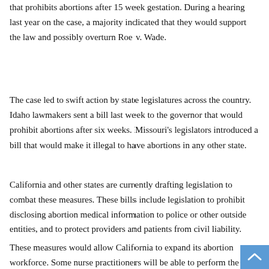that prohibits abortions after 15 week gestation. During a hearing last year on the case, a majority indicated that they would support the law and possibly overturn Roe v. Wade.
The case led to swift action by state legislatures across the country. Idaho lawmakers sent a bill last week to the governor that would prohibit abortions after six weeks. Missouri's legislators introduced a bill that would make it illegal to have abortions in any other state.
California and other states are currently drafting legislation to combat these measures. These bills include legislation to prohibit disclosing abortion medical information to police or other outside entities, and to protect providers and patients from civil liability.
These measures would allow California to expand its abortion workforce. Some nurse practitioners will be able to perform the procedure under the supervision of doctors. A scholarship program is also set up for student